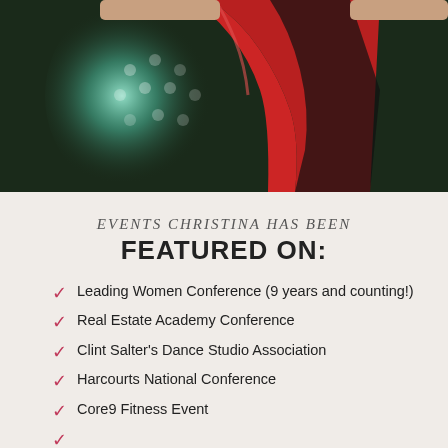[Figure (photo): Person wearing a red satin dress, photographed from torso down, against a dark green background with a glowing circular light element]
EVENTS CHRISTINA HAS BEEN
FEATURED ON:
Leading Women Conference (9 years and counting!)
Real Estate Academy Conference
Clint Salter's Dance Studio Association
Harcourts National Conference
Core9 Fitness Event